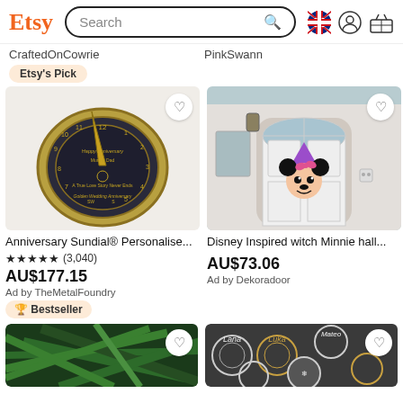Etsy Search
CraftedOnCowrie    PinkSwann
Etsy's Pick
[Figure (photo): Anniversary sundial with golden gnomon, engraved with Happy Anniversary Mum & Dad, A True Love Story Never Ends, Golden Wedding Anniversary]
[Figure (photo): White front door with Disney Inspired witch Minnie Mouse hanging decoration in orange and purple Halloween costume]
Anniversary Sundial® Personalise...
★★★★★ (3,040)
AU$177.15
Ad by TheMetalFoundry
Bestseller
Disney Inspired witch Minnie hall...
AU$73.06
Ad by Dekoradoor
[Figure (photo): Pine tree branches close-up, green Christmas decoration]
[Figure (photo): Wooden laser cut ornament Christmas decorations with names like Lana, Mateo on dark background]